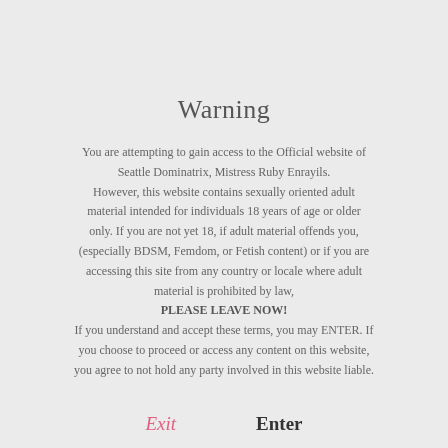Warning
You are attempting to gain access to the Official website of Seattle Dominatrix, Mistress Ruby Enrayils.
However, this website contains sexually oriented adult material intended for individuals 18 years of age or older only. If you are not yet 18, if adult material offends you, (especially BDSM, Femdom, or Fetish content) or if you are accessing this site from any country or locale where adult material is prohibited by law, PLEASE LEAVE NOW!
If you understand and accept these terms, you may ENTER. If you choose to proceed or access any content on this website, you agree to not hold any party involved in this website liable.
Exit
Enter